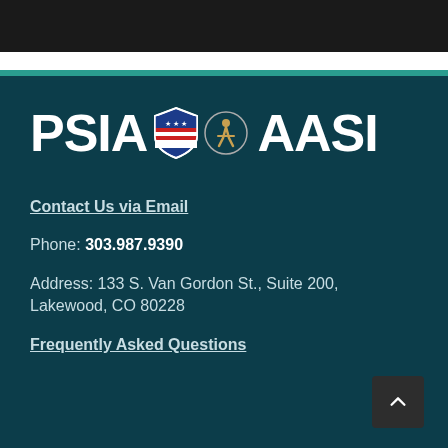[Figure (logo): PSIA-AASI logo with shield and snowboard instructor emblems on dark teal background]
Contact Us via Email
Phone: 303.987.9390
Address: 133 S. Van Gordon St., Suite 200, Lakewood, CO 80228
Frequently Asked Questions